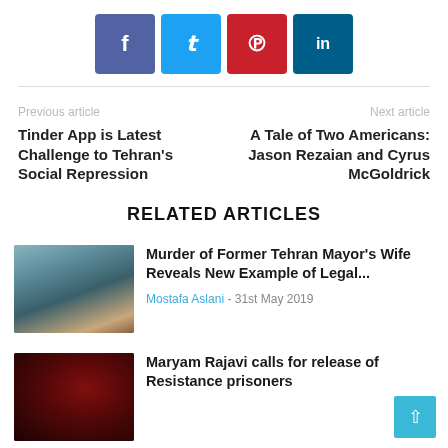[Figure (infographic): Social media share buttons: Facebook (purple-blue), Twitter (light blue), Pinterest (red), LinkedIn (dark blue)]
Previous article
Tinder App is Latest Challenge to Tehran's Social Repression
Next article
A Tale of Two Americans: Jason Rezaian and Cyrus McGoldrick
RELATED ARTICLES
[Figure (photo): Photo related to Murder of Former Tehran Mayor's Wife article]
Murder of Former Tehran Mayor's Wife Reveals New Example of Legal...
Mostafa Aslani - 31st May 2019
[Figure (photo): Photo related to Maryam Rajavi article, dark red background]
Maryam Rajavi calls for release of Resistance prisoners